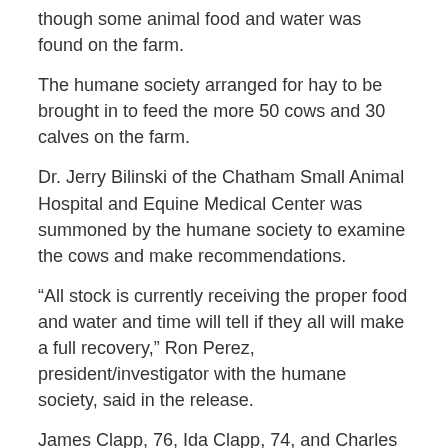though some animal food and water was found on the farm.
The humane society arranged for hay to be brought in to feed the more 50 cows and 30 calves on the farm.
Dr. Jerry Bilinski of the Chatham Small Animal Hospital and Equine Medical Center was summoned by the humane society to examine the cows and make recommendations.
“All stock is currently receiving the proper food and water and time will tell if they all will make a full recovery,” Ron Perez, president/investigator with the humane society, said in the release.
James Clapp, 76, Ida Clapp, 74, and Charles Clapp, 48, were charged with 33 misdemeanor counts of animal cruelty: failure to provide proper sustenance. The penalty for the charge is up to a year in jail and/or a $1,000 fine, according to the press release.
The Clapps were released with appearance tickets directing them to answer the charges in Hillsdale Court April 28.